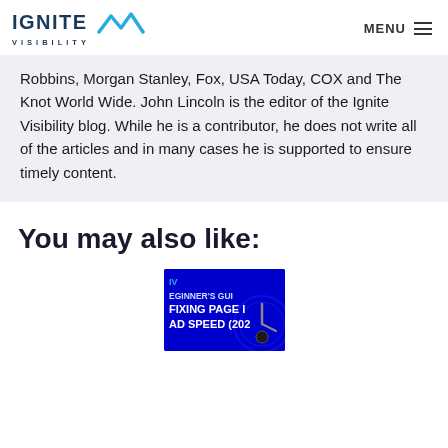IGNITE VISIBILITY | MENU
Robbins, Morgan Stanley, Fox, USA Today, COX and The Knot World Wide. John Lincoln is the editor of the Ignite Visibility blog. While he is a contributor, he does not write all of the articles and in many cases he is supported to ensure timely content.
You may also like:
[Figure (screenshot): Thumbnail image with blue background showing partial text: BEGINNER'S GUIDE FIXING PAGE LOAD SPEED (202...]